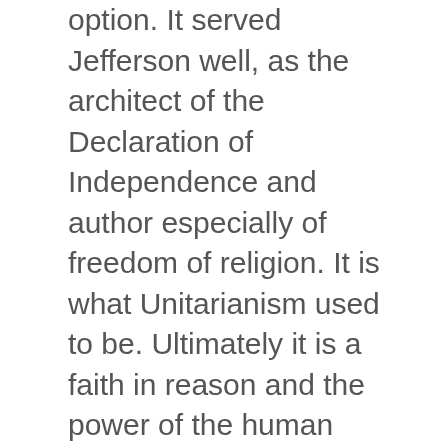option.  It served Jefferson well, as the architect of the Declaration of Independence and author especially of freedom of religion.  It is what Unitarianism used to be.  Ultimately it is a faith in reason and the power of the human brain, and while I am a great believer in applying reason and logic to any part of faith, I have found reason to be a very limited God.  It is a step above superstition, but only a couple of steps higher on the staircase to truth, because we can convince ourselves of almost anything.  Psychology continues to discover great flaws in our remarkable brains. What good is an amazing brain if we stick our head in the sands, and dismiss everything from evolution to global warming?  If reason and logic ruled the world there would be no advertising, no military, and no children going to be hungry.  Much like Microsoft Windows, we could use some periodic upgrades to fix some of the bugs I our operating systems.  We need a Humanity 2.0 that fixes selfishness error, a Humanity 3.0 that